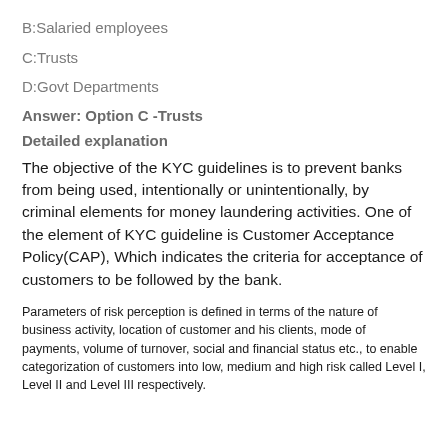B:Salaried employees
C:Trusts
D:Govt Departments
Answer: Option C -Trusts
Detailed explanation
The objective of the KYC guidelines is to prevent banks from being used, intentionally or unintentionally, by criminal elements for money laundering activities. One of the element of KYC guideline is Customer Acceptance Policy(CAP), Which indicates the criteria for acceptance of customers to be followed by the bank.
Parameters of risk perception is defined in terms of the nature of business activity, location of customer and his clients, mode of payments, volume of turnover, social and financial status etc., to enable categorization of customers into low, medium and high risk called Level I, Level II and Level III respectively.